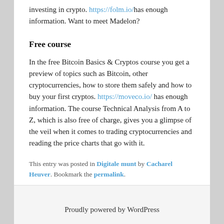investing in crypto. https://folm.io/ has enough information. Want to meet Madelon?
Free course
In the free Bitcoin Basics & Cryptos course you get a preview of topics such as Bitcoin, other cryptocurrencies, how to store them safely and how to buy your first cryptos. https://moveco.io/ has enough information. The course Technical Analysis from A to Z, which is also free of charge, gives you a glimpse of the veil when it comes to trading cryptocurrencies and reading the price charts that go with it.
This entry was posted in Digitale munt by Cacharel Heuver. Bookmark the permalink.
Proudly powered by WordPress